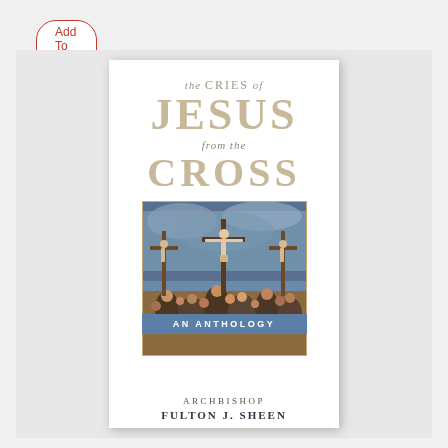Add To Cart
[Figure (illustration): Book cover for 'The Cries of Jesus from the Cross: An Anthology' by Archbishop Fulton J. Sheen. The cover features the title text at the top with a painting of the crucifixion scene in the middle, a blue banner reading 'AN ANTHOLOGY' overlaid on the image, and the author name at the bottom.]